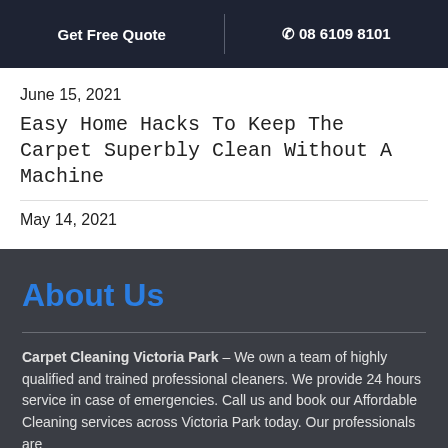Get Free Quote | 08 6109 8101
June 15, 2021
Easy Home Hacks To Keep The Carpet Superbly Clean Without A Machine
May 14, 2021
About Us
Carpet Cleaning Victoria Park – We own a team of highly qualified and trained professional cleaners. We provide 24 hours service in case of emergencies. Call us and book our Affordable Cleaning services across Victoria Park today. Our professionals are